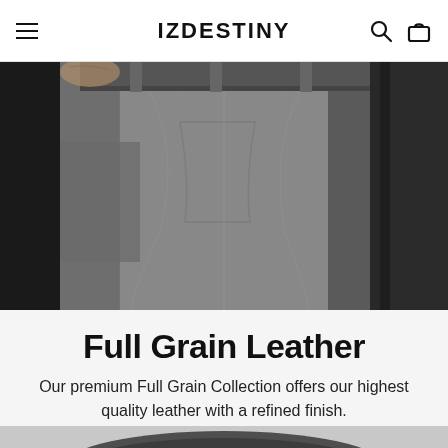IZDESTINY
[Figure (photo): Close-up photo of a person wearing grey dress pants/trousers against a dark background, showing the waist and upper leg area with one hand in the pocket.]
Full Grain Leather
Our premium Full Grain Collection offers our highest quality leather with a refined finish.
[Figure (photo): Partial view of a product image at the bottom of the page, showing what appears to be a leather item on a grey surface.]